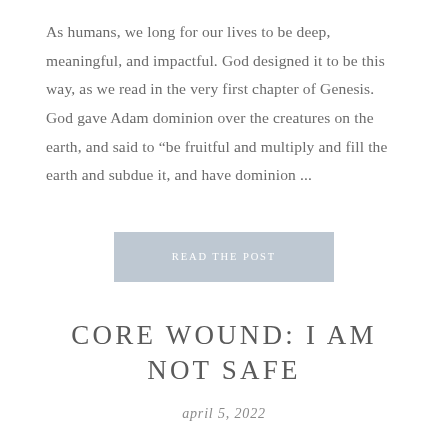As humans, we long for our lives to be deep, meaningful, and impactful. God designed it to be this way, as we read in the very first chapter of Genesis. God gave Adam dominion over the creatures on the earth, and said to “be fruitful and multiply and fill the earth and subdue it, and have dominion ...
[Figure (other): A rectangular button with light blue-grey background containing the text 'READ THE POST' in small uppercase letters]
CORE WOUND: I AM NOT SAFE
april 5, 2022